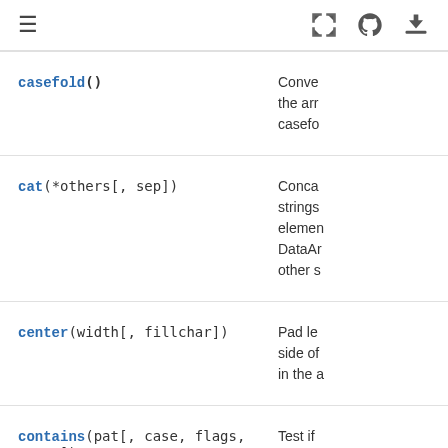≡  [icons: fullscreen, github, download]
| Method | Description |
| --- | --- |
| casefold() | Converts strings in the array to casefolded strings. |
| cat(*others[, sep]) | Concatenate strings in the Series/Index elements wise. DataArrays of other strings... |
| center(width[, fillchar]) | Pad left and right side of strings in the array in the... |
| contains(pat[, case, flags, regex]) | Test if... |